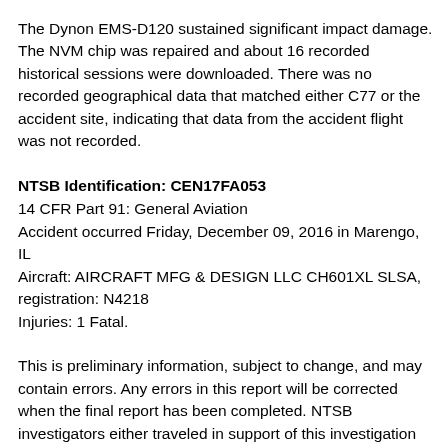The Dynon EMS-D120 sustained significant impact damage. The NVM chip was repaired and about 16 recorded historical sessions were downloaded. There was no recorded geographical data that matched either C77 or the accident site, indicating that data from the accident flight was not recorded.
NTSB Identification: CEN17FA053
14 CFR Part 91: General Aviation
Accident occurred Friday, December 09, 2016 in Marengo, IL
Aircraft: AIRCRAFT MFG & DESIGN LLC CH601XL SLSA, registration: N4218
Injuries: 1 Fatal.
This is preliminary information, subject to change, and may contain errors. Any errors in this report will be corrected when the final report has been completed. NTSB investigators either traveled in support of this investigation or conducted a significant amount of investigative work without any travel, and used data obtained from various sources to